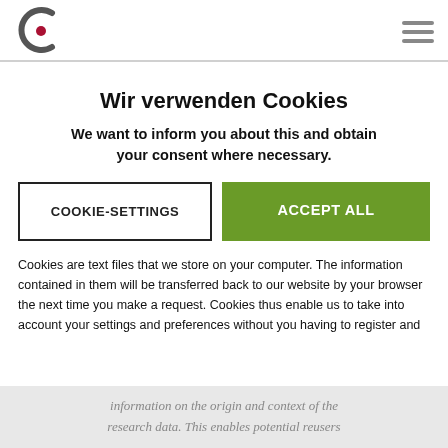Logo and navigation header
Wir verwenden Cookies
We want to inform you about this and obtain your consent where necessary.
COOKIE-SETTINGS | ACCEPT ALL
Cookies are text files that we store on your computer. The information contained in them will be transferred back to our website by your browser the next time you make a request. Cookies thus enable us to take into account your settings and preferences without you having to register and
information on the origin and context of the research data. This enables potential reusers